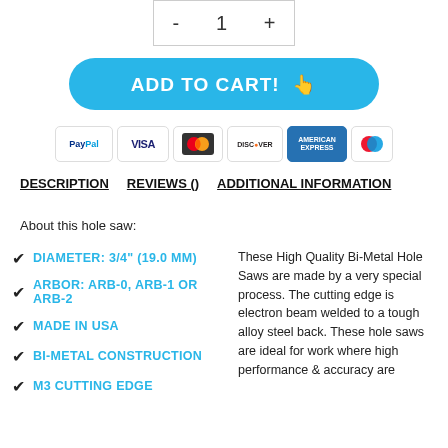[Figure (other): Quantity selector box showing minus, 1, plus]
[Figure (other): Add to cart button with pointing finger emoji]
[Figure (other): Payment icons: PayPal, Visa, Mastercard, Discover, American Express, Maestro]
DESCRIPTION   REVIEWS ()   ADDITIONAL INFORMATION
About this hole saw:
DIAMETER: 3/4" (19.0 MM)
ARBOR: ARB-0, ARB-1 OR ARB-2
MADE IN USA
BI-METAL CONSTRUCTION
M3 CUTTING EDGE
These High Quality Bi-Metal Hole Saws are made by a very special process. The cutting edge is electron beam welded to a tough alloy steel back. These hole saws are ideal for work where high performance & accuracy are